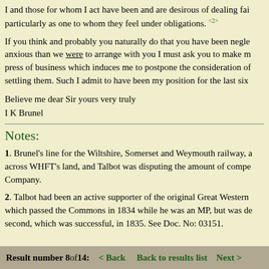I and those for whom I act have been and are desirous of dealing fair particularly as one to whom they feel under obligations. <2>
If you think and probably you naturally do that you have been neglected anxious than we were to arrange with you I must ask you to make m press of business which induces me to postpone the consideration of settling them. Such I admit to have been my position for the last six
Believe me dear Sir yours very truly
I K Brunel
Notes:
1. Brunel's line for the Wiltshire, Somerset and Weymouth railway, across WHFT's land, and Talbot was disputing the amount of compensation due from the Company.
2. Talbot had been an active supporter of the original Great Western which passed the Commons in 1834 while he was an MP, but was defeated. A second, which was successful, in 1835. See Doc. No: 03151.
Result number 8 of 14:  < Back    Back to results list   Next >